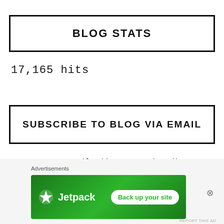BLOG STATS
17,165 hits
SUBSCRIBE TO BLOG VIA EMAIL
Enter your email address to subscribe to this blog and receive notifications of new posts by email.